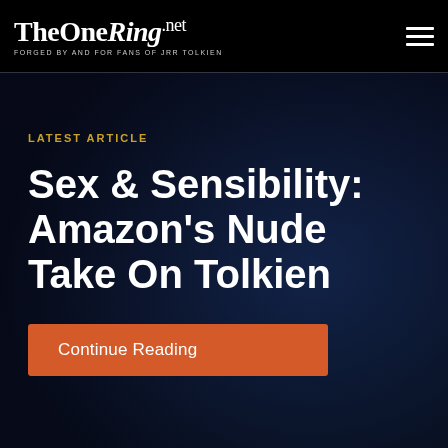TheOneRing.net — FORGED BY AND FOR FANS OF JRR TOLKIEN
LATEST ARTICLE
Sex & Sensibility: Amazon's Nude Take On Tolkien
Continue Reading